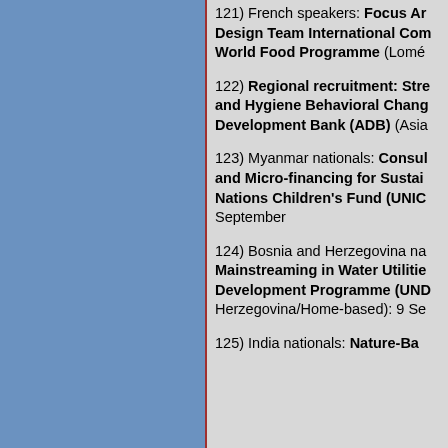121) French speakers: Focus Area Design Team International Consultant, World Food Programme (Lomé...
122) Regional recruitment: Str... and Hygiene Behavioral Chang... Development Bank (ADB) (Asia...
123) Myanmar nationals: Consul... and Micro-financing for Sustai... Nations Children's Fund (UNIC... September
124) Bosnia and Herzegovina na... Mainstreaming in Water Utilitie... Development Programme (UND... Herzegovina/Home-based): 9 Se...
125) India nationals: Nature-Ba...